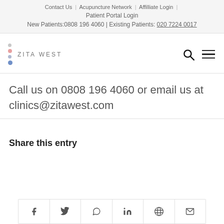Contact Us | Acupuncture Network | Affilliate Login | Patient Portal Login
New Patients:0808 196 4060 | Existing Patients: 020 7224 0017
[Figure (logo): Zita West logo with colored dots and text ZITA WEST]
Call us on 0808 196 4060 or email us at clinics@zitawest.com
Share this entry
[Figure (infographic): Social share icons row: Facebook, Twitter, WhatsApp, LinkedIn, Reddit, Email]